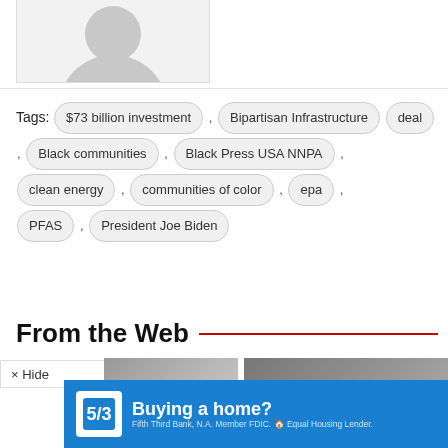[Figure (photo): Gray placeholder avatar image showing a silhouette of a person, cropped at the bottom of the frame]
Tags: $73 billion investment , Bipartisan Infrastructure deal , Black communities , Black Press USA NNPA , clean energy , communities of color , epa , PFAS , President Joe Biden
From the Web
× Hide
[Figure (photo): Partial thumbnail image on left side]
[Figure (photo): Partial thumbnail image on right side]
[Figure (screenshot): Fifth Third Bank advertisement banner: Buying a home? Fifth Third Bank, N.A. Member FDIC. Equal Housing Lender.]